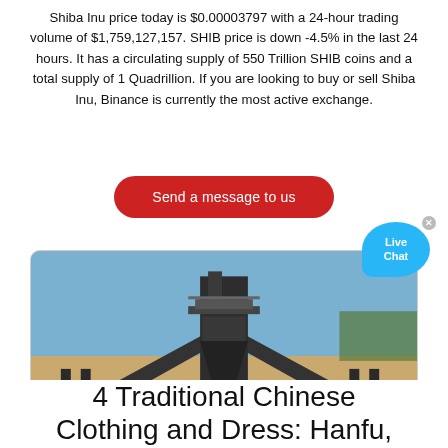Shiba Inu price today is $0.00003797 with a 24-hour trading volume of $1,759,127,157. SHIB price is down -4.5% in the last 24 hours. It has a circulating supply of 550 Trillion SHIB coins and a total supply of 1 Quadrillion. If you are looking to buy or sell Shiba Inu, Binance is currently the most active exchange.
[Figure (other): Red rounded button with white text reading 'Send a message to us']
[Figure (other): Live Chat widget bubble in light blue with 'Live Chat' text and a close X button]
[Figure (photo): Photo of a large industrial mobile crushing/screening machine on a dirt lot with blue sky background]
4 Traditional Chinese Clothing and Dress: Hanfu,